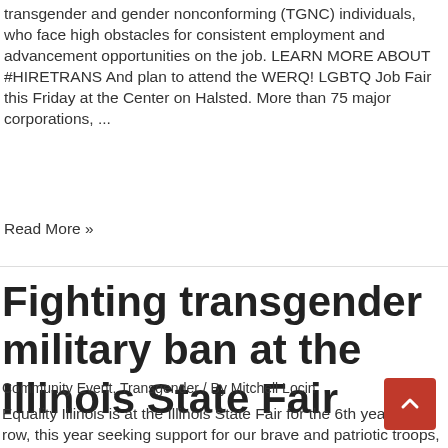transgender and gender nonconforming (TGNC) individuals, who face high obstacles for consistent employment and advancement opportunities on the job. LEARN MORE ABOUT #HIRETRANS And plan to attend the WERQ! LGBTQ Job Fair this Friday at the Center on Halsted. More than 75 major corporations, ...
Read More »
Fighting transgender military ban at the Illinois State Fair
Community Event, Transgender / By Mitchell Locin
Equality Illinois is at the Illinois State Fair for the 6th year in a row, this year seeking support for our brave and patriotic troops, including transgender members of the military. Fairgoers who stop by the Equality Illinois booth during the State Fair, which runs now through